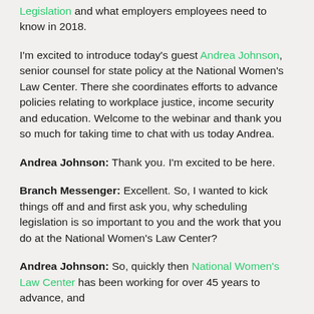Legislation and what employers employees need to know in 2018.
I'm excited to introduce today's guest Andrea Johnson, senior counsel for state policy at the National Women's Law Center. There she coordinates efforts to advance policies relating to workplace justice, income security and education. Welcome to the webinar and thank you so much for taking time to chat with us today Andrea.
Andrea Johnson: Thank you. I'm excited to be here.
Branch Messenger: Excellent. So, I wanted to kick things off and and first ask you, why scheduling legislation is so important to you and the work that you do at the National Women's Law Center?
Andrea Johnson: So, quickly then National Women's Law Center has been working for over 45 years to advance, and